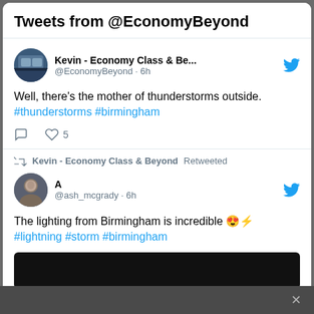Tweets from @EconomyBeyond
Kevin - Economy Class & Be... @EconomyBeyond · 6h
Well, there's the mother of thunderstorms outside. #thunderstorms #birmingham
♡ 5
Kevin - Economy Class & Beyond Retweeted
A @ash_mcgrady · 6h
The lighting from Birmingham is incredible 😍⚡ #lightning #storm #birmingham